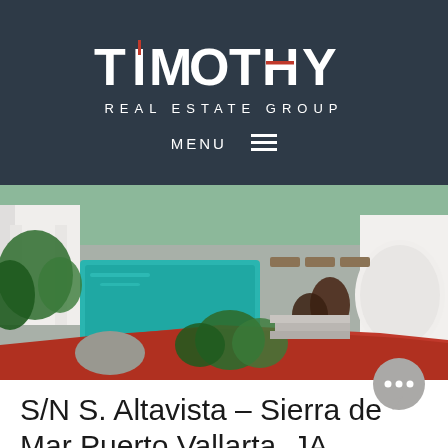[Figure (logo): Timothy Real Estate Group logo — white text on dark blue-grey background with red accent marks on the I and H letters]
MENU ≡
[Figure (photo): Aerial view of a luxury property with a turquoise swimming pool surrounded by tropical plants, white walls, lounge chairs, and a red-roofed building in the foreground]
S/N S. Altavista – Sierra del Mar Puerto Vallarta, JA